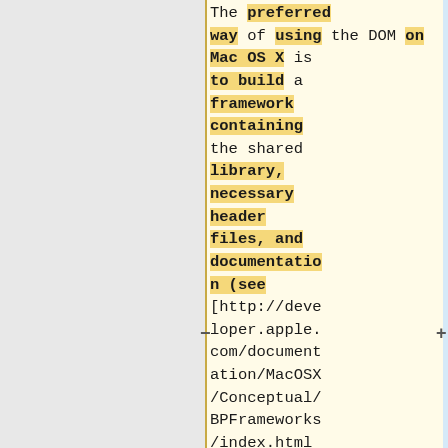The preferred way of using the DOM on Mac OS X is to build a framework containing the shared library, necessary header files, and documentation (see [http://developer.apple.com/documentation/MacOSX/Conceptual/BPFrameworks/index.html
The main benefit of this is that you can make sure that the DOM shared lib is in your PATH, so you can easily run a program that links against the shared lib.